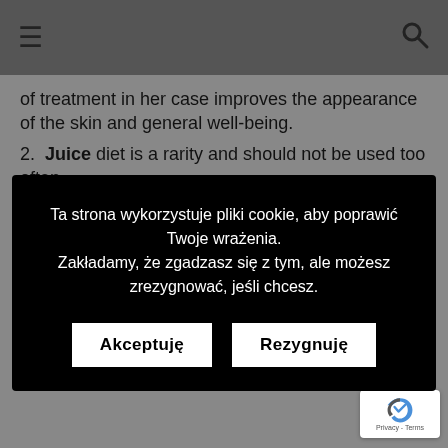☰  [search icon]
of treatment in her case improves the appearance of the skin and general well-being.
2. Juice diet is a rarity and should not be used too often. It will never replace a normal diet, even if it is high in
Ta strona wykorzystuje pliki cookie, aby poprawić Twoje wrażenia. Zakładamy, że zgadzasz się z tym, ale możesz zrezygnować, jeśli chcesz.
Akceptuję | Rezygnuję
rights, trampolines, etc)
4. It is good to choose the right moment to carry out such a detox. A lot of responsibilities and stress associated with their performance certainly do not favor detoxification.
5. Do yourself a detox when you are 100% determi